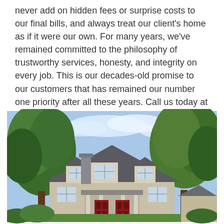never add on hidden fees or surprise costs to our final bills, and always treat our client's home as if it were our own. For many years, we've remained committed to the philosophy of trustworthy services, honesty, and integrity on every job. This is our decades-old promise to our customers that has remained our number one priority after all these years. Call us today at 843-751-5664 and get accurate answers to your painting questions in North Central, SC, and nearby cities.
[Figure (photo): Exterior photo of a residential house with a dark shingled roof featuring two dormer windows, a chimney, a front porch with red doors, surrounded by large green trees under a partly cloudy blue sky.]